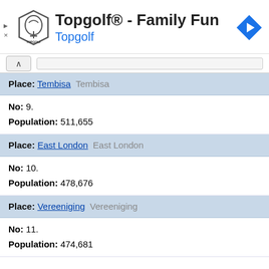[Figure (logo): Topgolf advertisement banner with logo, title 'Topgolf® - Family Fun', subtitle 'Topgolf', and navigation arrow icon]
Place: Tembisa Tembisa
No: 9.
Population: 511,655
Place: East London East London
No: 10.
Population: 478,676
Place: Vereeniging Vereeniging
No: 11.
Population: 474,681